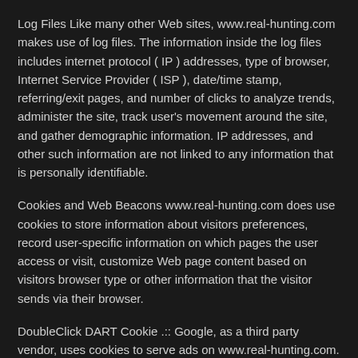Log Files Like many other Web sites, www.real-hunting.com makes use of log files. The information inside the log files includes internet protocol ( IP ) addresses, type of browser, Internet Service Provider ( ISP ), date/time stamp, referring/exit pages, and number of clicks to analyze trends, administer the site, track user's movement around the site, and gather demographic information. IP addresses, and other such information are not linked to any information that is personally identifiable.
Cookies and Web Beacons www.real-hunting.com does use cookies to store information about visitors preferences, record user-specific information on which pages the user access or visit, customize Web page content based on visitors browser type or other information that the visitor sends via their browser.
DoubleClick DART Cookie .:: Google, as a third party vendor, uses cookies to serve ads on www.real-hunting.com.